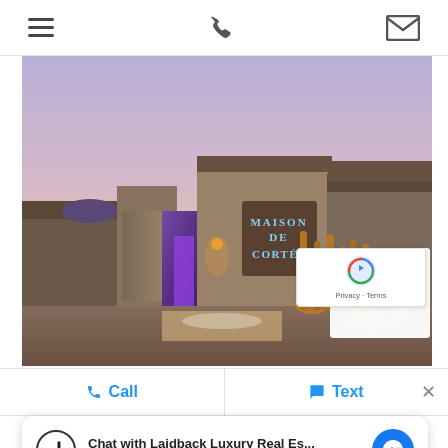Navigation bar with hamburger menu, phone icon, and email icon
[Figure (photo): Exterior photo of luxury residential property at dusk, showing modern architecture with illuminated entrance sign reading MAISON DE CORTÉS, purple accent lighting and warm landscape lighting]
Call   Text
Chat with Laidback Luxury Real Es... Hi! How can we help you?